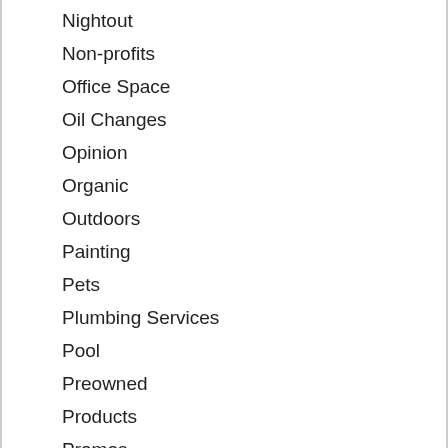Nightout
Non-profits
Office Space
Oil Changes
Opinion
Organic
Outdoors
Painting
Pets
Plumbing Services
Pool
Preowned
Products
Promos
Promotion